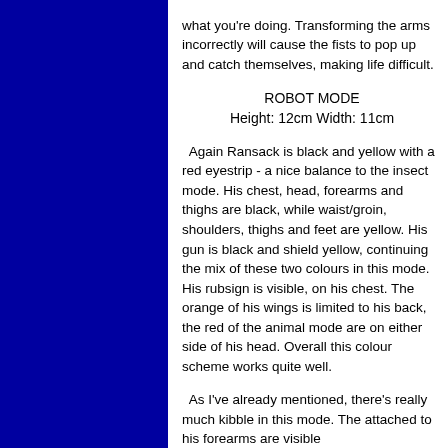what you're doing. Transforming the arms incorrectly will cause the fists to pop up and catch themselves, making life difficult.
ROBOT MODE
Height: 12cm Width: 11cm
Again Ransack is black and yellow with a red eyestrip - a nice balance to the insect mode. His chest, head, forearms and thighs are black, while waist/groin, shoulders, thighs and feet are yellow. His gun is black and shield yellow, continuing the mix of these two colours in this mode. His rubsign is visible, on his chest. The orange of his wings is limited to his back, the red of the animal mode are on either side of his head. Overall this colour scheme works quite well.
As I've already mentioned, there's really much kibble in this mode. The attached to his forearms are visible